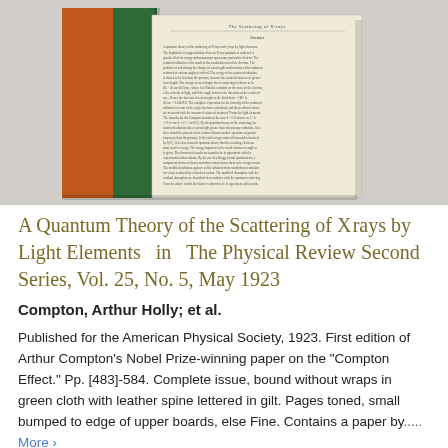[Figure (photo): Photograph of a book showing its spine (orange/brown with green cloth) and an open page displaying a scientific paper titled 'The Scattering of X-rays' with dense text, likely the Compton Effect paper from Physical Review 1923.]
A Quantum Theory of the Scattering of X rays by Light Elements  in  The Physical Review Second Series, Vol. 25, No. 5, May 1923
Compton, Arthur Holly; et al.
Published for the American Physical Society, 1923. First edition of Arthur Compton's Nobel Prize-winning paper on the "Compton Effect." Pp. [483]-584. Complete issue, bound without wraps in green cloth with leather spine lettered in gilt. Pages toned, small bumped to edge of upper boards, else Fine. Contains a paper by..... More >